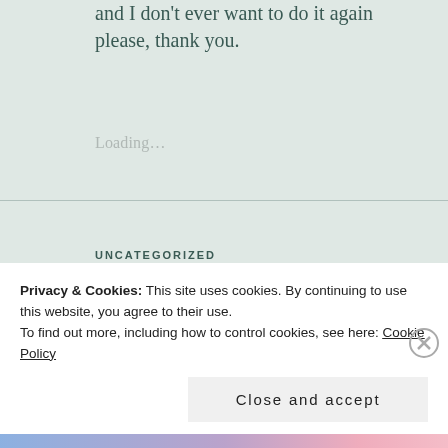and I don't ever want to do it again please, thank you.
Loading...
UNCATEGORIZED
Haiku and Nagasaki
Privacy & Cookies: This site uses cookies. By continuing to use this website, you agree to their use.
To find out more, including how to control cookies, see here: Cookie Policy
Close and accept